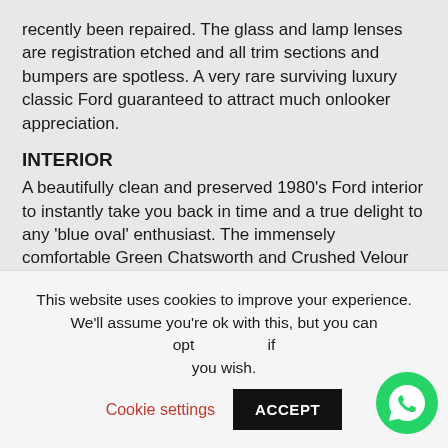recently been repaired. The glass and lamp lenses are registration etched and all trim sections and bumpers are spotless. A very rare surviving luxury classic Ford guaranteed to attract much onlooker appreciation.
INTERIOR
A beautifully clean and preserved 1980's Ford interior to instantly take you back in time and a true delight to any 'blue oval' enthusiast. The immensely comfortable Green Chatsworth and Crushed Velour (code W6) fabric seats are free from wear or damage. The spotlessly clean colour keyed cut pile carpets, matching door cards and perforated headlining are in excellent order aside from a tiny burn mark in the drivers foot well. All switchgear and functions operate exactly as intended including the RST21P radio cassette and
This website uses cookies to improve your experience. We'll assume you're ok with this, but you can opt out if you wish.
Cookie settings
ACCEPT